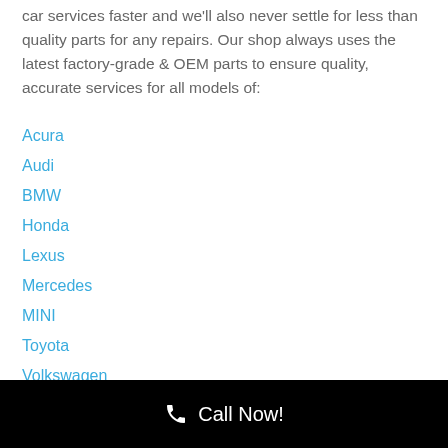car services faster and we'll also never settle for less than quality parts for any repairs. Our shop always uses the latest factory-grade & OEM parts to ensure quality, accurate services for all models of:
Acura
Audi
BMW
Honda
Lexus
Mercedes
MINI
Toyota
Volkswagen
📞 Call Now!